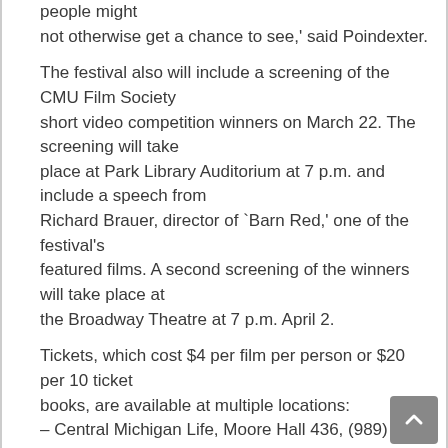people might not otherwise get a chance to see,' said Poindexter.

The festival also will include a screening of the CMU Film Society short video competition winners on March 22. The screening will take place at Park Library Auditorium at 7 p.m. and include a speech from Richard Brauer, director of `Barn Red,' one of the festival's featured films. A second screening of the winners will take place at the Broadway Theatre at 7 p.m. April 2.

Tickets, which cost $4 per film per person or $20 per 10 ticket books, are available at multiple locations:
– Central Michigan Life, Moore Hall 436, (989) 774-3493
– Celebration! Cinema, 4935 E. Pickard St., Mount